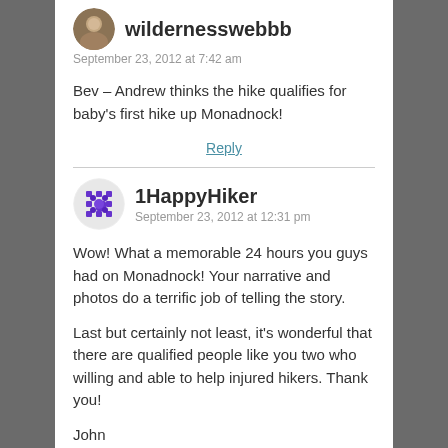[Figure (photo): Avatar image for wildernesswebbb user]
wildernesswebbb
September 23, 2012 at 7:42 am
Bev – Andrew thinks the hike qualifies for baby's first hike up Monadnock!
Reply
[Figure (illustration): Avatar image for 1HappyHiker user — purple geometric grid pattern]
1HappyHiker
September 23, 2012 at 12:31 pm
Wow! What a memorable 24 hours you guys had on Monadnock! Your narrative and photos do a terrific job of telling the story.
Last but certainly not least, it's wonderful that there are qualified people like you two who willing and able to help injured hikers. Thank you!
John